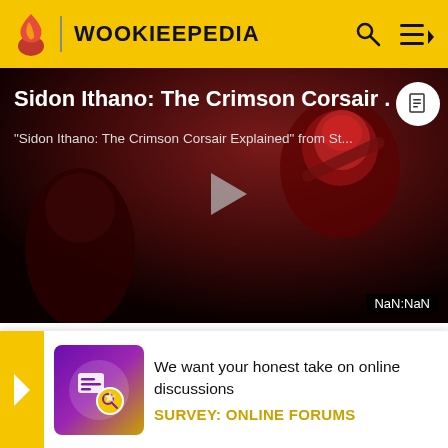WOOKIEEPEDIA
[Figure (screenshot): Video thumbnail for 'Sidon Ithano: The Crimson Corsair Explained' showing a red-masked figure in a dark scene with a play button overlay. Timer shows NaN:NaN.]
Sidon Ithano: The Crimson Corsair .
"Sidon Ithano: The Crimson Corsair Explained" from St...
Terminal. The Corsair and his crew fought in several battles over the years, including at Adratharno 7 where Ithano... the ba... the Lost C...he
[Figure (infographic): Survey banner with yellow arrow, purple/gold icon, text 'We want your honest take on online discussions' and 'SURVEY: ONLINE FORUMS']